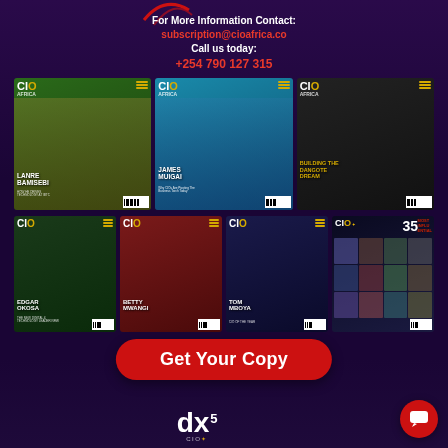For More Information Contact:
subscription@cioafrica.co
Call us today:
+254 790 127 315
[Figure (illustration): Grid of 7 CIO Africa magazine covers featuring: Lanre Bamisebi, James Muigai, Building the Dangote Dream (chess pieces), Edgar Okosa, Betty Mwangi, Tom Mboya, and CIO 35 Most Influential]
[Figure (other): Red rounded rectangle button with white bold text reading 'Get Your Copy']
[Figure (logo): dx5 logo in white and CIO Africa branding at bottom, with red circular chat bubble icon]